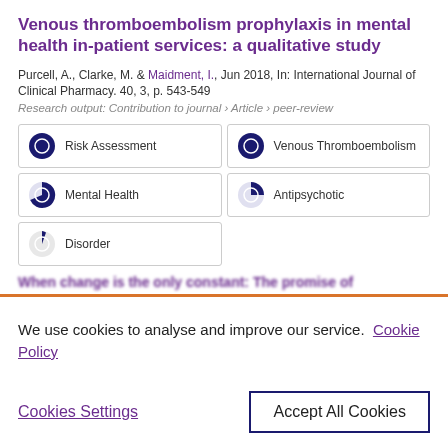Venous thromboembolism prophylaxis in mental health in-patient services: a qualitative study
Purcell, A., Clarke, M. & Maidment, I., Jun 2018, In: International Journal of Clinical Pharmacy. 40, 3, p. 543-549
Research output: Contribution to journal › Article › peer-review
[Figure (infographic): Five keyword badges with pie-chart icons showing research topics: Risk Assessment (100%), Venous Thromboembolism (100%), Mental Health (75%), Antipsychotic (50%), Disorder (20%)]
When change is the only constant: The promise of
We use cookies to analyse and improve our service. Cookie Policy
Cookies Settings
Accept All Cookies